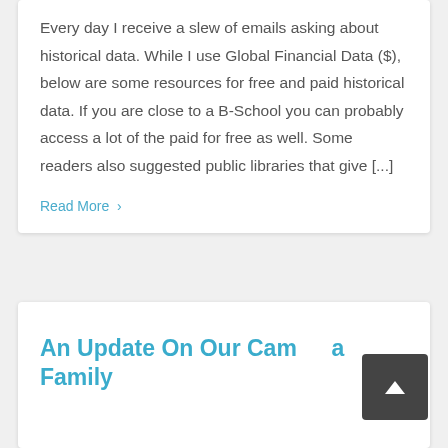Every day I receive a slew of emails asking about historical data.  While I use Global Financial Data ($), below are some resources for free and paid historical data.  If you are close to a B-School you can probably access a lot of the paid for free as well.  Some readers also suggested public libraries that give [...]
Read More ›
An Update On Our Cam___a Family